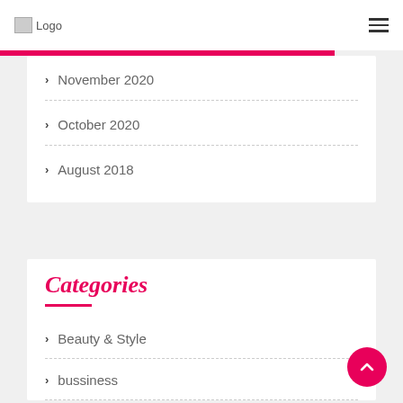Logo [hamburger menu]
November 2020
October 2020
August 2018
Categories
Beauty & Style
bussiness